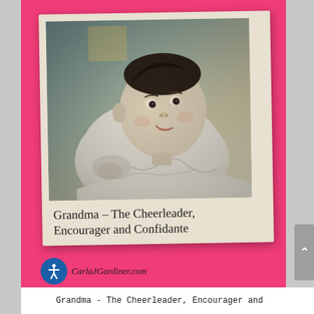[Figure (photo): Polaroid-style photo of a baby lying down, black and white vintage photo with teal toning, wearing white clothing, with caption text 'Grandma – The Cheerleader, Encourager and Confidante' in handwritten font on the white polaroid border]
CarlaJGardiner.com
Grandma - The Cheerleader, Encourager and